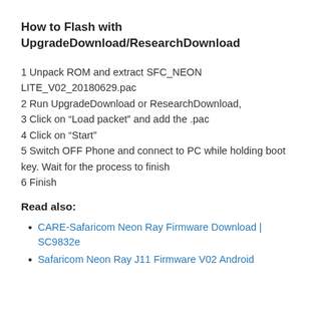How to Flash with UpgradeDownload/ResearchDownload
1 Unpack ROM and extract SFC_NEON LITE_V02_20180629.pac
2 Run UpgradeDownload or ResearchDownload,
3 Click on “Load packet” and add the .pac
4 Click on “Start”
5 Switch OFF Phone and connect to PC while holding boot key. Wait for the process to finish
6 Finish
Read also:
CARE-Safaricom Neon Ray Firmware Download | SC9832e
Safaricom Neon Ray J11 Firmware V02 Android